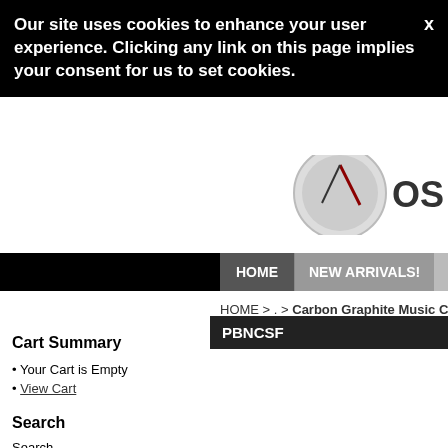Our site uses cookies to enhance your user experience. Clicking any link on this page implies your consent for us to set cookies.
HOME | NEW ARRIVALS! | OUR BRANDS
HOME > . > Carbon Graphite Music Conducting
PBNCSF
Cart Summary
Your Cart is Empty
View Cart
Search
Search
Navigation
HOME
.
Pickboy Metacarbonate 50th Anniversary Reissue